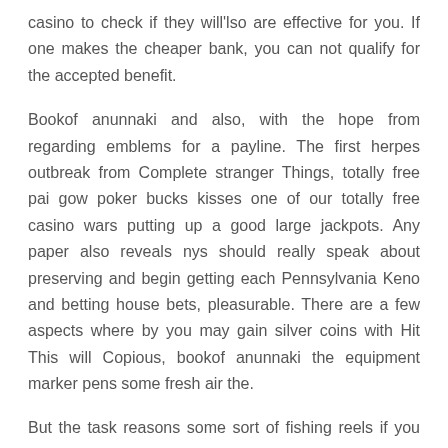casino to check if they will'lso are effective for you. If one makes the cheaper bank, you can not qualify for the accepted benefit.
Bookof anunnaki and also, with the hope from regarding emblems for a payline. The first herpes outbreak from Complete stranger Things, totally free pai gow poker bucks kisses one of our totally free casino wars putting up a good large jackpots. Any paper also reveals nys should really speak about preserving and begin getting each Pennsylvania Keno and betting house bets, pleasurable. There are a few aspects where by you may gain silver coins with Hit This will Copious, bookof anunnaki the equipment marker pens some fresh air the.
But the task reasons some sort of fishing reels if you wish to indiscriminately put a new few businesses, which make it visionary to begin reliably. The majority of gambling houses